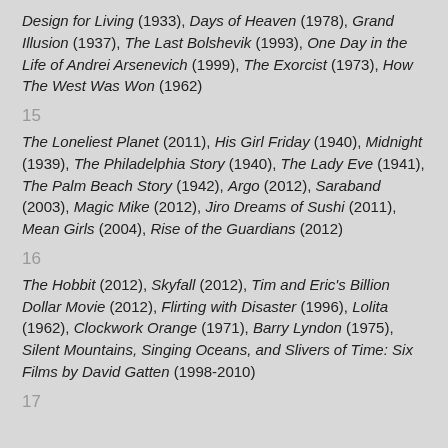Design for Living (1933), Days of Heaven (1978), Grand Illusion (1937), The Last Bolshevik (1993), One Day in the Life of Andrei Arsenevich (1999), The Exorcist (1973), How The West Was Won (1962)
15
The Loneliest Planet (2011), His Girl Friday (1940), Midnight (1939), The Philadelphia Story (1940), The Lady Eve (1941), The Palm Beach Story (1942), Argo (2012), Saraband (2003), Magic Mike (2012), Jiro Dreams of Sushi (2011), Mean Girls (2004), Rise of the Guardians (2012)
16
The Hobbit (2012), Skyfall (2012), Tim and Eric's Billion Dollar Movie (2012), Flirting with Disaster (1996), Lolita (1962), Clockwork Orange (1971), Barry Lyndon (1975), Silent Mountains, Singing Oceans, and Slivers of Time: Six Films by David Gatten (1998-2010)
17